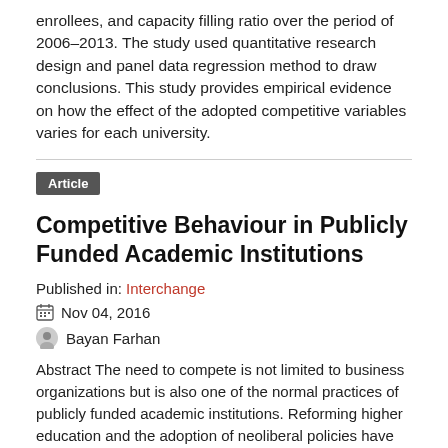enrollees, and capacity filling ratio over the period of 2006–2013. The study used quantitative research design and panel data regression method to draw conclusions. This study provides empirical evidence on how the effect of the adopted competitive variables varies for each university.
Article
Competitive Behaviour in Publicly Funded Academic Institutions
Published in: Interchange
Nov 04, 2016
Bayan Farhan
Abstract The need to compete is not limited to business organizations but is also one of the normal practices of publicly funded academic institutions. Reforming higher education and the adoption of neoliberal policies have transformed publicly funded colleges and universities and have forced them towards